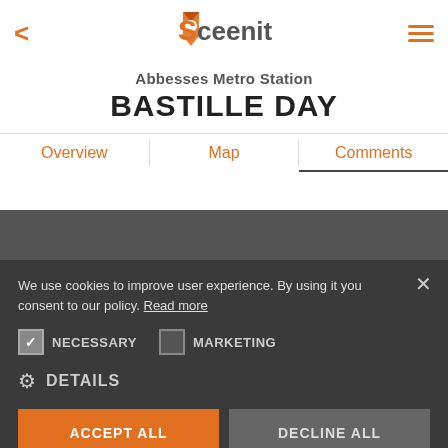[Figure (logo): Sceenit app logo with orange location pin and grey text]
Abbesses Metro Station
BASTILLE DAY
Overview | Map | Comments
We use cookies to improve user experience. By using it you consent to our policy. Read more
NECESSARY (checked) | MARKETING (unchecked)
DETAILS
ACCEPT ALL | DECLINE ALL